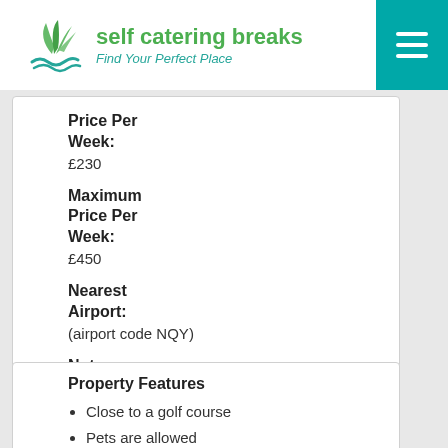self catering breaks – Find Your Perfect Place
Price Per Week: £230
Maximum Price Per Week: £450
Nearest Airport: (airport code NQY)
Notes
Property Features
Close to a golf course
Pets are allowed